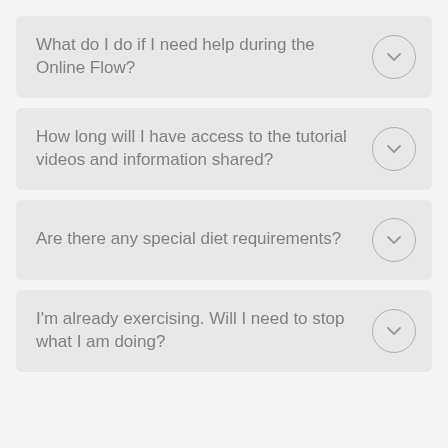What do I do if I need help during the Online Flow?
How long will I have access to the tutorial videos and information shared?
Are there any special diet requirements?
I'm already exercising. Will I need to stop what I am doing?